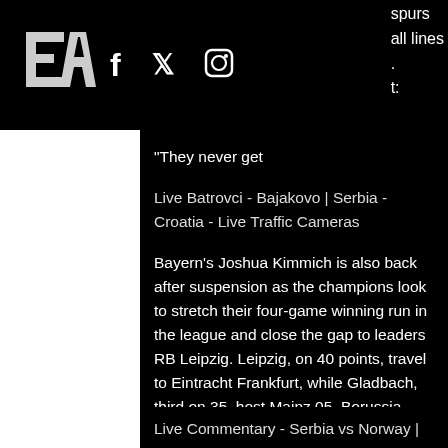EA logo with social icons (Facebook, Twitter, Instagram) and hamburger menu. Partial text: spurs, all lines, t:
"They never get
Live Batrovci - Bajakovo | Serbia - Croatia - Live Traffic Cameras
Bayern's Joshua Kimmich is also back after suspension as the champions look to stretch their four-game winning run in the league and close the gap to leaders RB Leipzig. Leipzig, on 40 points, travel to Eintracht Frankfurt, while Gladbach, third on 35, host Mainz 05. Borussia Dortmund, fourth on 33, host Cologne on
Live Commentary - Serbia vs Norway |